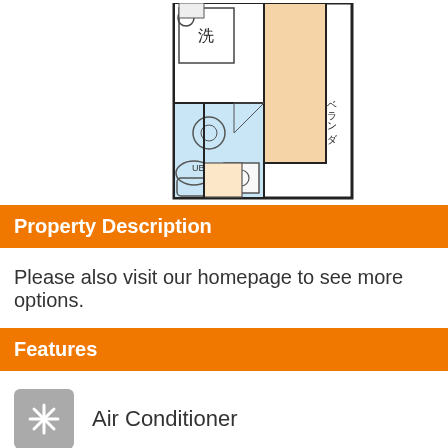[Figure (engineering-diagram): Japanese apartment floor plan showing a 洋室5帖 (Western-style room, 5 tatami mats) in peach/beige color with a balcony (ベランダ), a bathroom unit (UB) in light blue, a washing machine area (洗), and an entry area with a small room. Walls drawn in black lines.]
Property Description
Please also visit our homepage to see more options.
Features
Air Conditioner
Air Conditioner / Heater